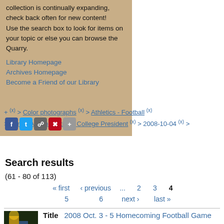collection is continually expanding, check back often for new content! Use the search box to look for items on your topic or else you can browse the Quarry.
Library Homepage
Archives Homepage
Become a Friend of our Library
+ (x) > Color photographs (x) > Athletics - Football (x) > Senior Administration - College President (x) > 2008-10-04 (x) >
Search results
(61 - 80 of 113)
« first  ‹ previous  ...  2  3  4
5  6  next ›  last »
|  | Title |  |
| --- | --- | --- |
| [image] | Title | 2008 Oct. 3 - 5 Homecoming Football Game |